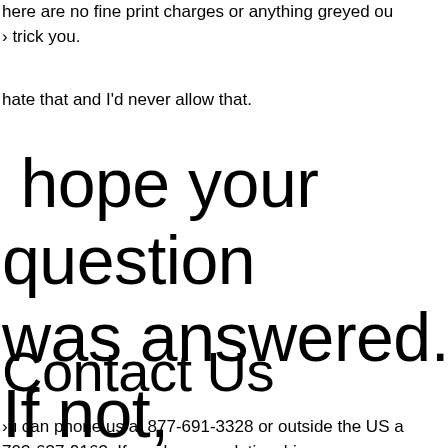here are no fine print charges or anything greyed out to trick you.
hate that and I'd never allow that.
hope your question was answered. If not, please...
Contact Us
you can phone us at 877-691-3328 or outside the US at 703-637-9163. If you have a relationship or sex